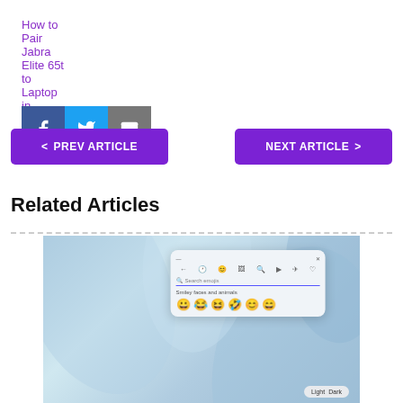How to Pair Jabra Elite 65t to Laptop in Windows 11
[Figure (infographic): Social share buttons: Facebook (blue), Twitter (cyan), Email (gray)]
< PREV ARTICLE
NEXT ARTICLE >
Related Articles
[Figure (screenshot): Windows 11 emoji picker dialog open with smiley faces and animals category, search bar visible, emoji icons displayed. Light/Dark toggle visible at bottom right.]